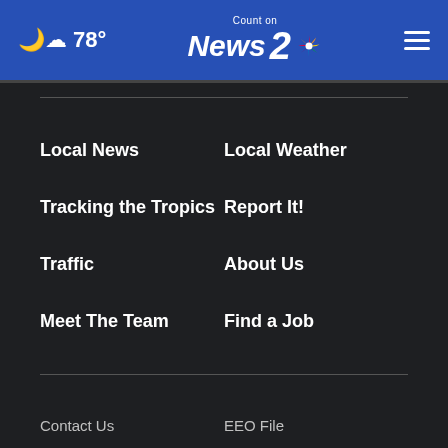78° Count on News 2 NBC
Local News
Local Weather
Tracking the Tropics
Report It!
Traffic
About Us
Meet The Team
Find a Job
Contact Us
EEO File
FCC Public File
Privacy Policy